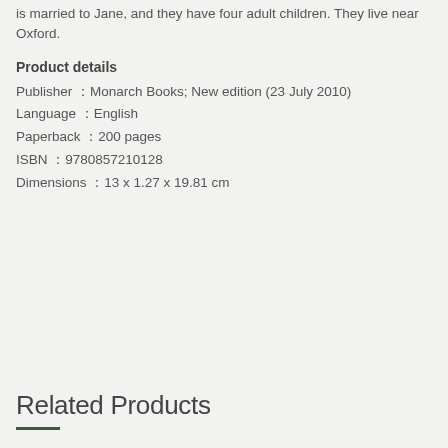is married to Jane, and they have four adult children. They live near Oxford.
Product details
Publisher : Monarch Books; New edition (23 July 2010)
Language : English
Paperback : 200 pages
ISBN : 9780857210128
Dimensions : 13 x 1.27 x 19.81 cm
Related Products